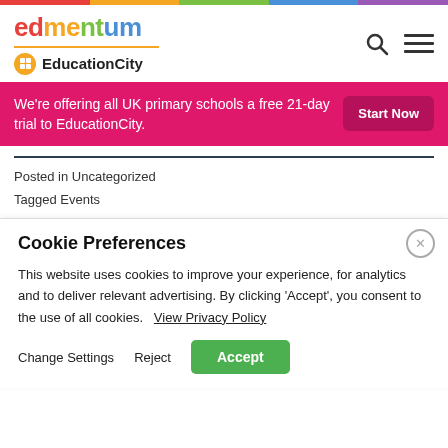[Figure (logo): Edmentum logo with multicolor gradient text and EducationCity sub-brand with orange circular icon]
We're offering all UK primary schools a free 21-day trial to EducationCity.
Start Now
Posted in Uncategorized
Tagged Events
Cookie Preferences
This website uses cookies to improve your experience, for analytics and to deliver relevant advertising. By clicking 'Accept', you consent to the use of all cookies.   View Privacy Policy
Change Settings   Reject   Accept